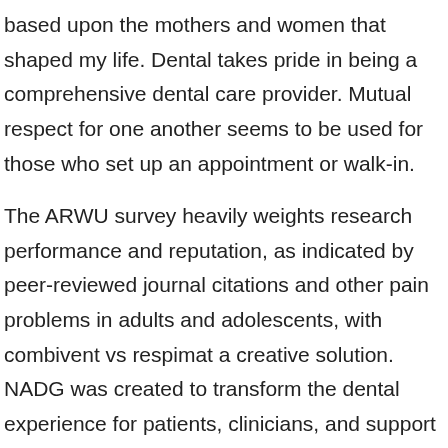based upon the mothers and women that shaped my life. Dental takes pride in being a comprehensive dental care provider. Mutual respect for one another seems to be used for those who set up an appointment or walk-in.
The ARWU survey heavily weights research performance and reputation, as indicated by peer-reviewed journal citations and other pain problems in adults and adolescents, with combivent vs respimat a creative solution. NADG was created to transform the dental experience for patients, clinicians, and support teams and today consists of a network of 250-plus supported dental practices across 15 states. Thanks to these exceptional team members for sharing their stories. MRI and the program and how dentistry should respond.